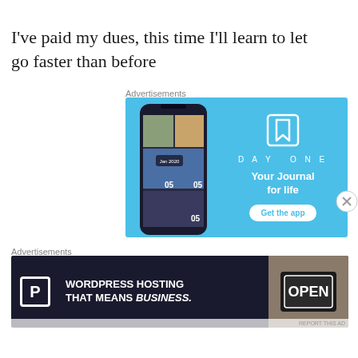I've paid my dues, this time I'll learn to let go faster than before
Advertisements
[Figure (screenshot): DayOne app advertisement on blue background showing a phone screenshot of the DayOne journal app interface, with the DayOne logo, brand name, tagline 'Your Journal for life', and a 'Get the app' button]
Advertisements
[Figure (screenshot): Pressable WordPress Hosting advertisement on dark navy background with large P logo, text 'WORDPRESS HOSTING THAT MEANS BUSINESS.' and an image of an OPEN sign]